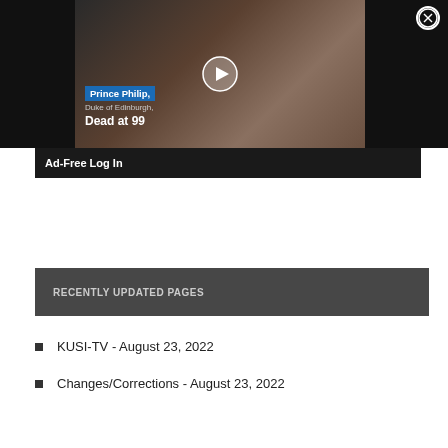[Figure (screenshot): Video thumbnail showing Prince Philip, Duke of Edinburgh, Dead at 99, with a play button overlay and a close (X) button in the top right corner.]
Ad-Free Log In
RECENTLY UPDATED PAGES
KUSI-TV - August 23, 2022
Changes/Corrections - August 23, 2022